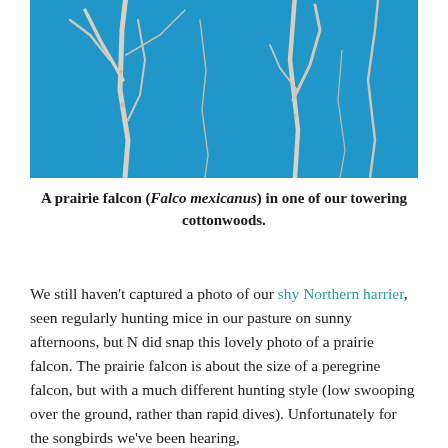[Figure (photo): Close-up photograph of bare winter tree branches (likely cottonwood) against a bright blue sky. The branches are pale/white, slender, and cross the frame diagonally and vertically.]
A prairie falcon (Falco mexicanus) in one of our towering cottonwoods.
We still haven't captured a photo of our shy Northern harrier, seen regularly hunting mice in our pasture on sunny afternoons, but N did snap this lovely photo of a prairie falcon. The prairie falcon is about the size of a peregrine falcon, but with a much different hunting style (low swooping over the ground, rather than rapid dives). Unfortunately for the songbirds we've been hearing,